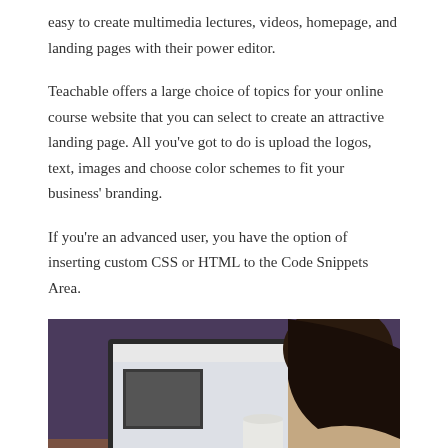easy to create multimedia lectures, videos, homepage, and landing pages with their power editor.
Teachable offers a large choice of topics for your online course website that you can select to create an attractive landing page. All you've got to do is upload the logos, text, images and choose color schemes to fit your business' branding.
If you're an advanced user, you have the option of inserting custom CSS or HTML to the Code Snippets Area.
[Figure (photo): A person with long dark hair sitting at a desk using a laptop, with a coffee mug in the foreground and a white mug/cup in the background. The scene appears to be a cafe or workspace with warm tones.]